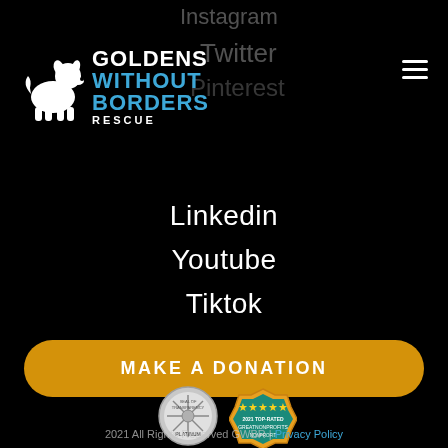[Figure (logo): Goldens Without Borders Rescue logo with white dog silhouette and blue/white text]
Instagram
Twitter
Pinterest
Linkedin
Youtube
Tiktok
MAKE A DONATION
[Figure (logo): Seal of Transparency Platinum badge]
[Figure (logo): GreatNonprofits 2021 Top-Rated badge]
2021 All Rights Reserved GWBR | Privacy Policy